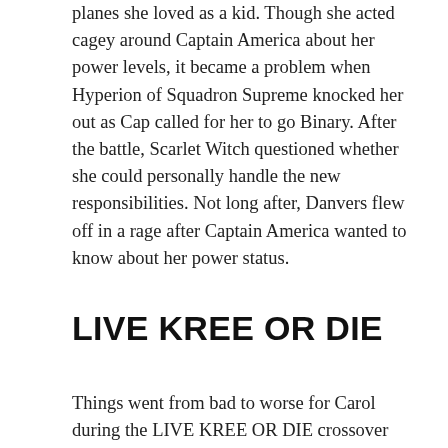planes she loved as a kid. Though she acted cagey around Captain America about her power levels, it became a problem when Hyperion of Squadron Supreme knocked her out as Cap called for her to go Binary. After the battle, Scarlet Witch questioned whether she could personally handle the new responsibilities. Not long after, Danvers flew off in a rage after Captain America wanted to know about her power status.
LIVE KREE OR DIE
Things went from bad to worse for Carol during the LIVE KREE OR DIE crossover which ran through IRON MAN #7, CAPTAIN AMERICA #8, QUICKSILVER #10, and AVENGERS #7. Her inability to convey her power levels and get control of her personal holdups led to so many problems during the alien invasion that she stood before an official inquest in issue #7. Though it seemed like they were ready to kick her off the team,